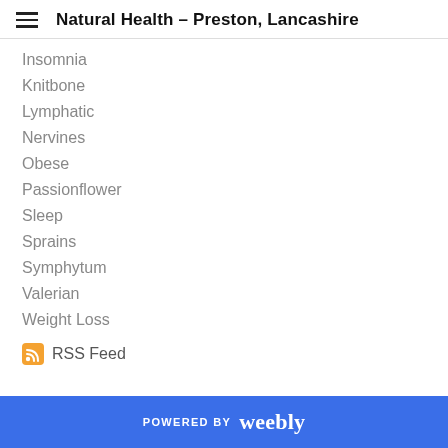Natural Health – Preston, Lancashire
Insomnia
Knitbone
Lymphatic
Nervines
Obese
Passionflower
Sleep
Sprains
Symphytum
Valerian
Weight Loss
RSS Feed
POWERED BY weebly